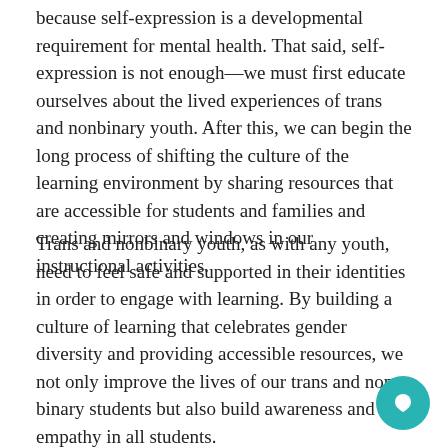because self-expression is a developmental requirement for mental health. That said, self-expression is not enough—we must first educate ourselves about the lived experiences of trans and nonbinary youth. After this, we can begin the long process of shifting the culture of the learning environment by sharing resources that are accessible for students and families and creating mirrors and windows in our instructional activities.
Trans and nonbinary youth, as with any youth, need to feel safe and supported in their identities in order to engage with learning. By building a culture of learning that celebrates gender diversity and providing accessible resources, we not only improve the lives of our trans and non-binary students but also build awareness and empathy in all students.